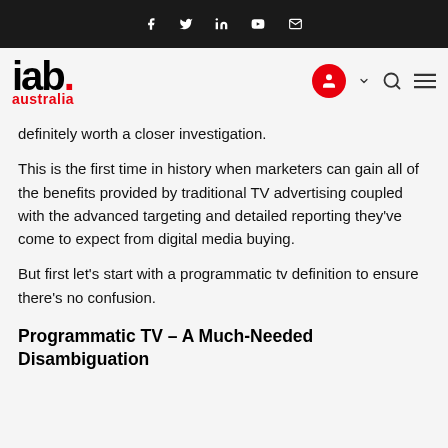IAB Australia navigation bar with social icons: Facebook, Twitter, LinkedIn, YouTube, Email
[Figure (logo): IAB Australia logo — 'iab.' in black bold with red dot, 'australia' in red below]
definitely worth a closer investigation.
This is the first time in history when marketers can gain all of the benefits provided by traditional TV advertising coupled with the advanced targeting and detailed reporting they've come to expect from digital media buying.
But first let's start with a programmatic tv definition to ensure there's no confusion.
Programmatic TV – A Much-Needed Disambiguation